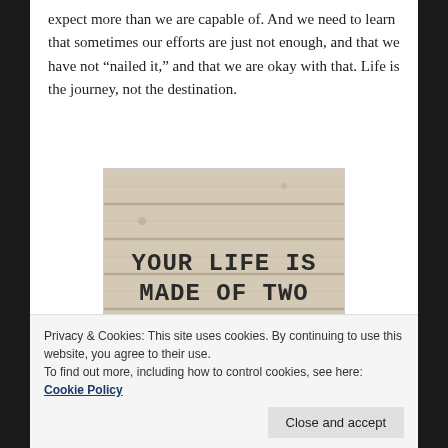expect more than we are capable of. And we need to learn that sometimes our efforts are just not enough, and that we have not “nailed it,” and that we are okay with that. Life is the journey, not the destination.
[Figure (illustration): A wood-plank background sign with bold uppercase text: YOUR LIFE IS MADE OF TWO DATES AND A DASH.]
Privacy & Cookies: This site uses cookies. By continuing to use this website, you agree to their use.
To find out more, including how to control cookies, see here: Cookie Policy